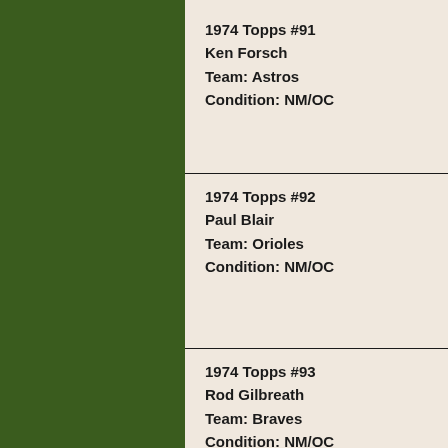1974 Topps #91
Ken Forsch
Team: Astros
Condition: NM/OC
1974 Topps #92
Paul Blair
Team: Orioles
Condition: NM/OC
1974 Topps #93
Rod Gilbreath
Team: Braves
Condition: NM/OC